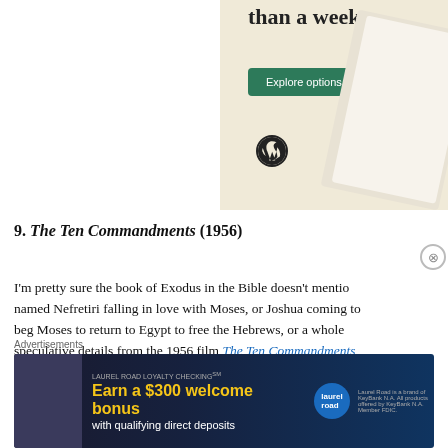[Figure (screenshot): WordPress advertisement banner showing 'than a week' text, green 'Explore options' button, WordPress logo, and a mockup of a restaurant/food website]
9. The Ten Commandments (1956)
I'm pretty sure the book of Exodus in the Bible doesn't mention a named Nefretiri falling in love with Moses, or Joshua coming to beg Moses to return to Egypt to free the Hebrews, or a whole speculative details from the 1956 film The Ten Commandments. those apocryphal or otherwise fabricated plot devices a
Advertisements
[Figure (screenshot): Laurel Road Loyalty Checking advertisement: 'Earn a $300 welcome bonus with qualifying direct deposits']